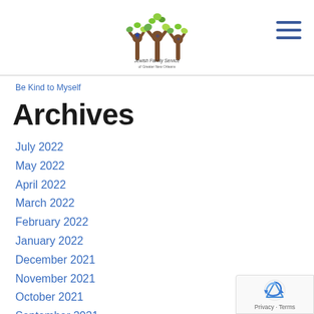[Figure (logo): Jewish Family Service of Greater New Orleans logo — three stylized brown tree figures with green leaves and blue Stars of David, with text 'Jewish Family Service of Greater New Orleans']
Be Kind to Myself
Archives
July 2022
May 2022
April 2022
March 2022
February 2022
January 2022
December 2021
November 2021
October 2021
September 2021
August 2021